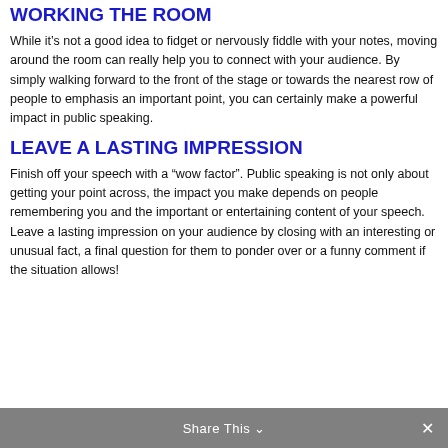WORKING THE ROOM
While it’s not a good idea to fidget or nervously fiddle with your notes, moving around the room can really help you to connect with your audience. By simply walking forward to the front of the stage or towards the nearest row of people to emphasis an important point, you can certainly make a powerful impact in public speaking.
LEAVE A LASTING IMPRESSION
Finish off your speech with a “wow factor”. Public speaking is not only about getting your point across, the impact you make depends on people remembering you and the important or entertaining content of your speech. Leave a lasting impression on your audience by closing with an interesting or unusual fact, a final question for them to ponder over or a funny comment if the situation allows!
Share This ⌄  ×